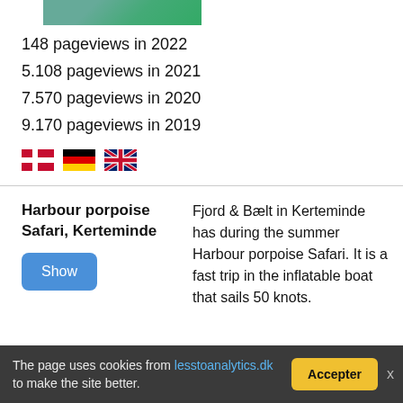[Figure (photo): Partial view of a nature/outdoor photo at top of page]
148 pageviews in 2022
5.108 pageviews in 2021
7.570 pageviews in 2020
9.170 pageviews in 2019
[Figure (illustration): Row of three flag icons: Danish flag, German flag, UK flag]
Harbour porpoise Safari, Kerteminde
Fjord & Bælt in Kerteminde has during the summer Harbour porpoise Safari. It is a fast trip in the inflatable boat that sails 50 knots.
The page uses cookies from lesstoanalytics.dk to make the site better.